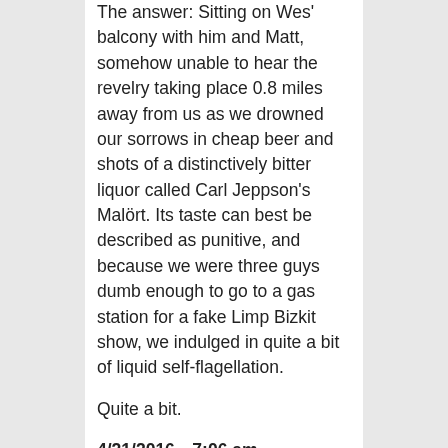The answer: Sitting on Wes' balcony with him and Matt, somehow unable to hear the revelry taking place 0.8 miles away from us as we drowned our sorrows in cheap beer and shots of a distinctively bitter liquor called Carl Jeppson's Malört. Its taste can best be described as punitive, and because we were three guys dumb enough to go to a gas station for a fake Limp Bizkit show, we indulged in quite a bit of liquid self-flagellation.
Quite a bit.
4/21/2016—7:06 am
Ugh.
Why does my head hurt so much?
Why does my heart hurt so much?
The answers, respectively, are that I drank a lot of gross Malort, beer, and Code Red last night, and I did so in anticipation of a Limp Bizkit show that failed to materialize. And then when a party